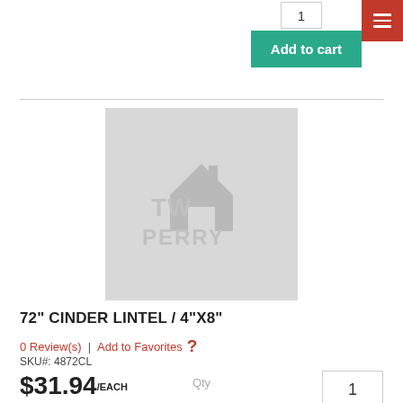Qty
1
Add to cart
[Figure (logo): TW Perry product placeholder image with TW Perry house logo watermark on gray background]
72" CINDER LINTEL / 4"X8"
0 Review(s)  |  Add to Favorites  ?
SKU#: 4872CL
$31.94/EACH
Qty
1